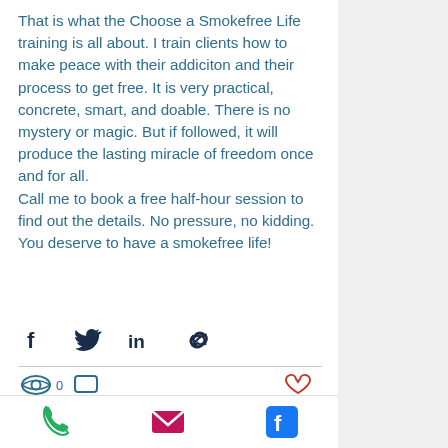That is what the Choose a Smokefree Life training is all about. I train clients how to make peace with their addiciton and their process to get free. It is very practical, concrete, smart, and doable. There is no mystery or magic. But if followed, it will produce the lasting miracle of freedom once and for all.
Call me to book a free half-hour session to find out the details. No pressure, no kidding. You deserve to have a smokefree life!
[Figure (infographic): Social share icons: Facebook, Twitter, LinkedIn, Link/chain icon]
[Figure (infographic): View count icon with 0, comment icon, and heart/like icon on right]
[Figure (infographic): Bottom navigation bar with phone icon (green), email icon (magenta/pink envelope), and Facebook icon (blue)]